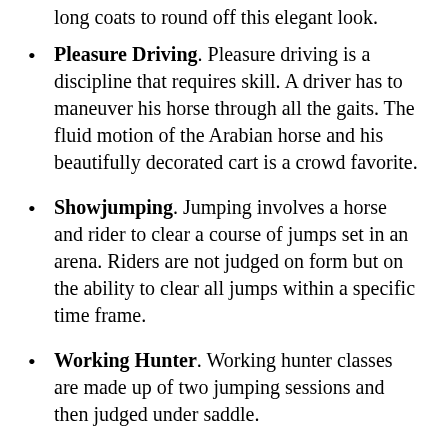Pleasure Driving. Pleasure driving is a discipline that requires skill. A driver has to maneuver his horse through all the gaits. The fluid motion of the Arabian horse and his beautifully decorated cart is a crowd favorite.
Showjumping. Jumping involves a horse and rider to clear a course of jumps set in an arena. Riders are not judged on form but on the ability to clear all jumps within a specific time frame.
Working Hunter. Working hunter classes are made up of two jumping sessions and then judged under saddle.
Trail Riding. In Trail riding, both horse and rider have to negotiate natural obstacles that simulate real hazards in everyday life. The horse has to get through the course without hesitation in a timely manner. Arabians are excellent for this discipline